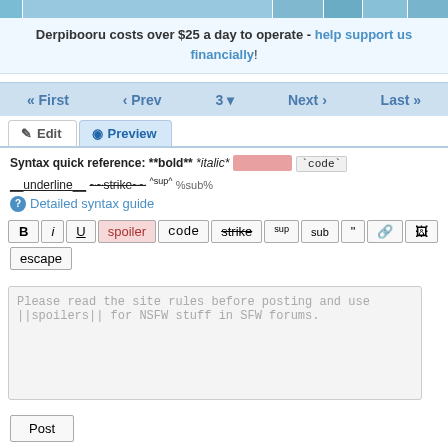[Figure (screenshot): Top banner with small thumbnail images]
Derpibooru costs over $25 a day to operate - help support us financially!
« First  ‹ Prev  3  Next ›  Last »
Edit  Preview
Syntax quick reference: **bold** *italic* [spoiler] `code` __underline__ ~~strike~~ ^sup^ %sub%
? Detailed syntax guide
Toolbar buttons: B i U spoiler code strike sup sub quote link image escape
Please read the site rules before posting and use ||spoilers|| for NSFW stuff in SFW forums.
Post